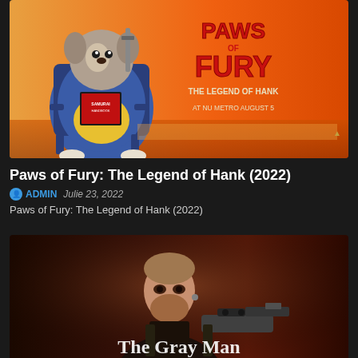[Figure (photo): Paws of Fury: The Legend of Hank animated movie poster with a large dog character in a blue robe sitting in a chair, orange background, text 'PAWS OF FURY THE LEGEND OF HANK AT NU METRO AUGUST 5']
Paws of Fury: The Legend of Hank (2022)
ADMIN  Julie 23, 2022
Paws of Fury: The Legend of Hank (2022)
[Figure (photo): The Gray Man movie poster showing a bearded man holding a weapon against a dark reddish background, with title 'The Gray Man' at the bottom]